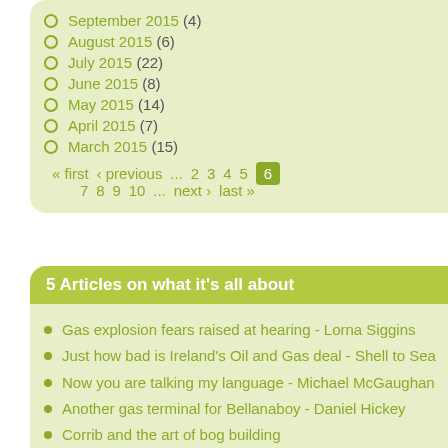September 2015 (4)
August 2015 (6)
July 2015 (22)
June 2015 (8)
May 2015 (14)
April 2015 (7)
March 2015 (15)
« first  ‹ previous  ...  2  3  4  5  6  7  8  9  10  ...  next ›  last »
5 Articles on what it's all about
Gas explosion fears raised at hearing - Lorna Siggins
Just how bad is Ireland's Oil and Gas deal - Shell to Sea
Now you are talking my language - Michael McGaughan
Another gas terminal for Bellanaboy - Daniel Hickey
Corrib and the art of bog building